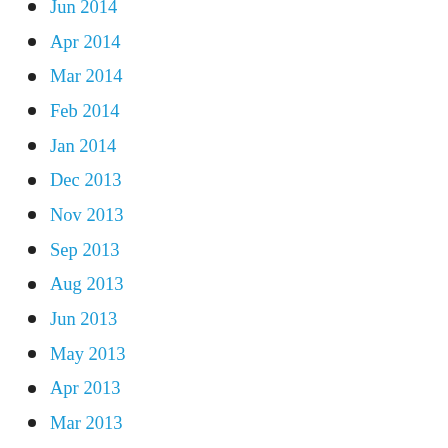Jun 2014
Apr 2014
Mar 2014
Feb 2014
Jan 2014
Dec 2013
Nov 2013
Sep 2013
Aug 2013
Jun 2013
May 2013
Apr 2013
Mar 2013
Feb 2013
Jan 2013
Dec 2012
Nov 2012